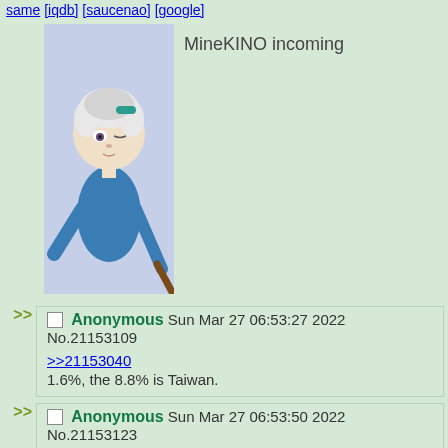[same] [iqdb] [saucenao] [google]
[Figure (illustration): Anime character with white hair holding a brown stick/item, blue outfit, light blue background. Caption: MineKINO incoming]
Anonymous Sun Mar 27 06:53:27 2022 No.21153109
>>21153040
1.6%, the 8.8% is Taiwan.
Anonymous Sun Mar 27 06:53:50 2022 No.21153123
>oh wow!
>Ness!
>...
Anonymous Sun Mar 27 06:53:58 2022 No.21153126
>>21152990
global stopped being relevant